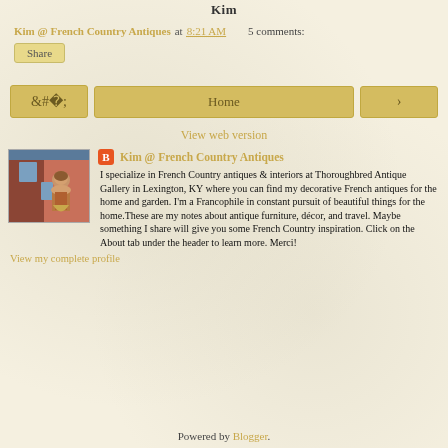Kim
Kim @ French Country Antiques at 8:21 AM    5 comments:
Share
‹   Home   ›
View web version
Kim @ French Country Antiques
I specialize in French Country antiques & interiors at Thoroughbred Antique Gallery in Lexington, KY where you can find my decorative French antiques for the home and garden. I'm a Francophile in constant pursuit of beautiful things for the home.These are my notes about antique furniture, décor, and travel. Maybe something I share will give you some French Country inspiration. Click on the About tab under the header to learn more. Merci!
View my complete profile
Powered by Blogger.